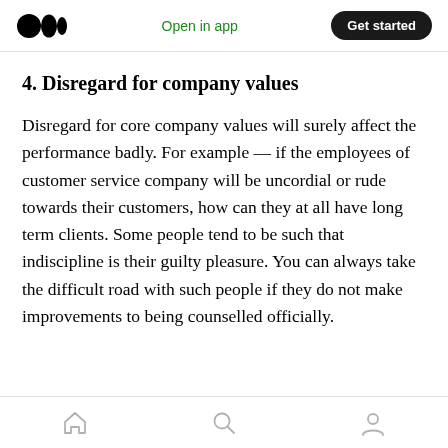Open in app | Get started
4. Disregard for company values
Disregard for core company values will surely affect the performance badly. For example — if the employees of customer service company will be uncordial or rude towards their customers, how can they at all have long term clients. Some people tend to be such that indiscipline is their guilty pleasure. You can always take the difficult road with such people if they do not make improvements to being counselled officially.
Home | Search | Profile